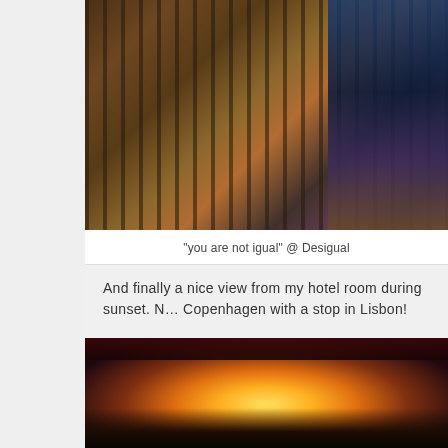[Figure (photo): Photo of clothing rack at Desigual store showing hanging garments in various colors and patterns, partially cropped at right edge.]
"you are not igual" @ Desigual
And finally a nice view from my hotel room during sunset. Next time Copenhagen with a stop in Lisbon!
[Figure (photo): Sunset view from hotel room showing a cityscape with bright sun on the horizon, waterfront, and industrial structures in silhouette.]